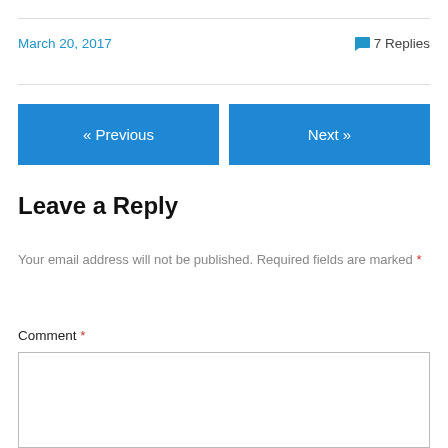March 20, 2017
💬 7 Replies
« Previous
Next »
Leave a Reply
Your email address will not be published. Required fields are marked *
Comment *